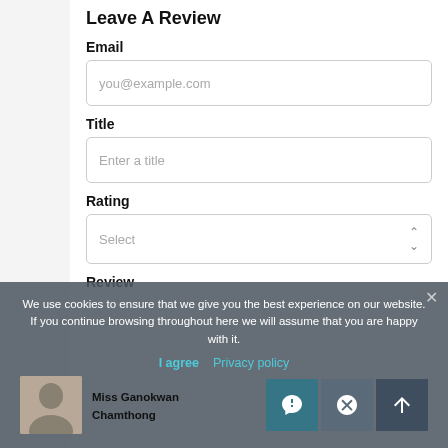Leave A Review
Email
you@example.com
Title
Enter a title
Rating
Select
Review
We use cookies to ensure that we give you the best experience on our website. If you continue browsing throughout here we will assume that you are happy with it.
I agree   Privacy policy
Miss Ganokwan Chamthong